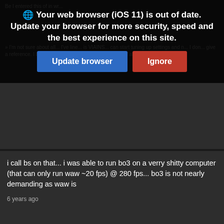[Figure (screenshot): Browser update warning modal overlay with globe icon, bold text 'Your web browser (iOS 11) is out of date. Update your browser for more security, speed and the best experience on this site.' with blue 'Update browser' and red 'Ignore' buttons]
i call bs on that... i was able to run bo3 on a verry shitty computer (that can only run waw ~20 fps) @ 280 fps... bo3 is not nearly demanding as waw is
6 years ago